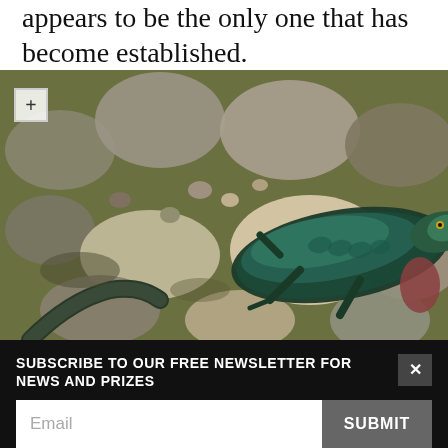appears to be the only one that has become established.
[Figure (photo): A colorful blue-green lizard resting on rocks and gravel, photographed from above. A small white button with a plus sign is visible in the upper left corner of the image.]
SUBSCRIBE TO OUR FREE NEWSLETTER FOR NEWS AND PRIZES
Email
SUBMIT
3  FREE ARTICLES LEFT
Subscribe for £1